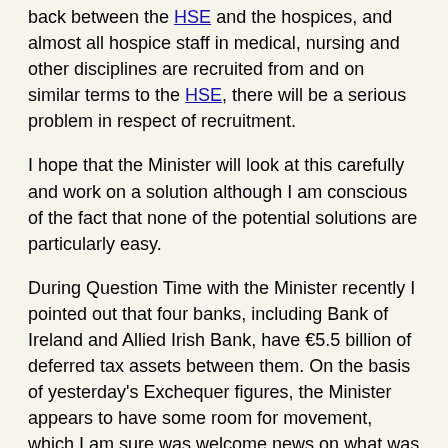back between the HSE and the hospices, and almost all hospice staff in medical, nursing and other disciplines are recruited from and on similar terms to the HSE, there will be a serious problem in respect of recruitment.
I hope that the Minister will look at this carefully and work on a solution although I am conscious of the fact that none of the potential solutions are particularly easy.
During Question Time with the Minister recently I pointed out that four banks, including Bank of Ireland and Allied Irish Bank, have €5.5 billion of deferred tax assets between them. On the basis of yesterday's Exchequer figures, the Minister appears to have some room for movement, which I am sure was welcome news on what was a difficult day for the Government. Alongside that, we have a situation now whereby the banks are very profitable again. They are including all of this in their briefing notes to investors and to the markets and so on. They have €5.5 billion of deferred tax assets, that is, losses that they will claim against their profits until such time as they are exhausted. I have proposed to the Minister that the banks should not be allowed to do that at a time when the economy needs more funding for both current and capital investment. It is also an offence to taxpayers who bailed out the banks that they should be boasting in notes to investors about the value of these deferred tax assets, which are very significant. The Minister wants to put more money into key areas like education, health, housing,